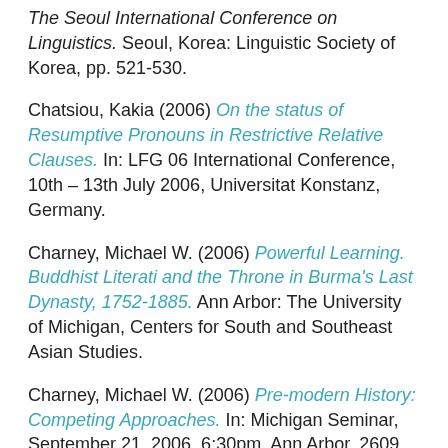The Seoul International Conference on Linguistics. Seoul, Korea: Linguistic Society of Korea, pp. 521-530.
Chatsiou, Kakia (2006) On the status of Resumptive Pronouns in Restrictive Relative Clauses. In: LFG 06 International Conference, 10th – 13th July 2006, Universitat Konstanz, Germany.
Charney, Michael W. (2006) Powerful Learning. Buddhist Literati and the Throne in Burma's Last Dynasty, 1752-1885. Ann Arbor: The University of Michigan, Centers for South and Southeast Asian Studies.
Charney, Michael W. (2006) Pre-modern History: Competing Approaches. In: Michigan Seminar, September 21, 2006, 6:30pm, Ann Arbor, 2609 SSWB. (Unpublished)
Contadini, Anna (2006) 'A Question in Arab Painting: The Ibn al-Sufi Manuscript in Tehran and its Art-Historical Connections.' Muqarnas, 23, pp. 47-84.